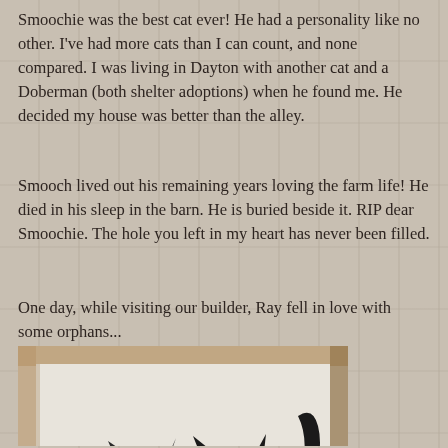Smoochie was the best cat ever!  He had a personality like no other.  I've had more cats than I can count, and none compared.  I was living in Dayton with another cat and a Doberman (both shelter adoptions) when he found me.  He decided my house was better than the alley.
Smooch lived out his remaining years loving the farm life!  He died in his sleep in the barn.  He is buried beside it.  RIP dear Smoochie.  The hole you left in my heart has never been filled.
One day, while visiting our builder, Ray fell in love with some orphans...
[Figure (photo): Three small kittens huddled together in a cardboard box — two black-and-white kittens and one all-black kitten.]